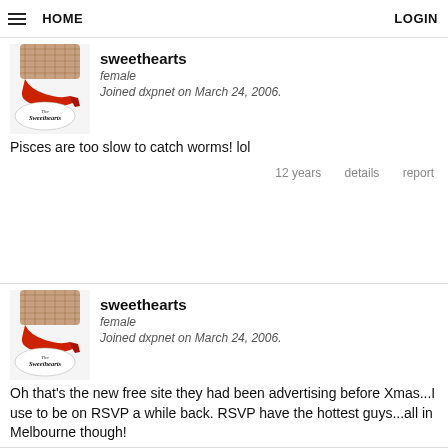HOME   LOGIN
sweethearts
female
Joined dxpnet on March 24, 2006.
Pisces are too slow to catch worms! lol
12 years   details   report
sweethearts
female
Joined dxpnet on March 24, 2006.
Oh that's the new free site they had been advertising before Xmas...I use to be on RSVP a while back. RSVP have the hottest guys...all in Melbourne though!

Have you also tried the FB one? Zoosk?